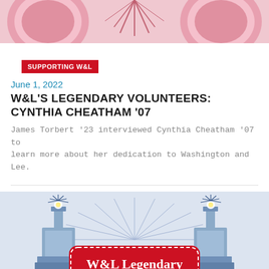[Figure (illustration): Top partial illustration showing pink/red circular decorative elements against a light background, cropped at top of page]
SUPPORTING W&L
June 1, 2022
W&L'S LEGENDARY VOLUNTEERS: CYNTHIA CHEATHAM '07
James Torbert '23 interviewed Cynthia Cheatham '07 to learn more about her dedication to Washington and Lee.
[Figure (illustration): Illustration of a decorative gate with two pillars topped with torches/lights shooting sparks, a large red rounded-rectangle banner reading 'W&L Legendary Volunteers' in white serif text, set against a light blue background with radiating lines]